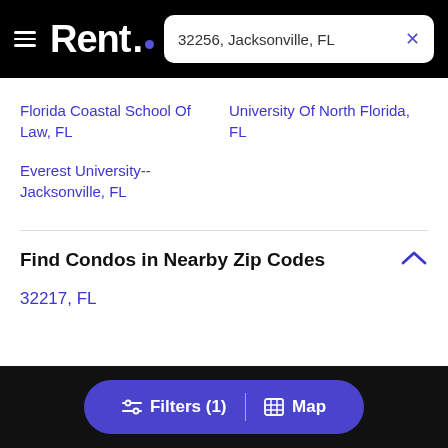Rent. | 32256, Jacksonville, FL
Florida Coastal School Of Law, FL
University Of North Florida, FL
Everest University-- Jacksonville, FL
Find Condos in Nearby Zip Codes
32217, FL
Filters (1) | Map